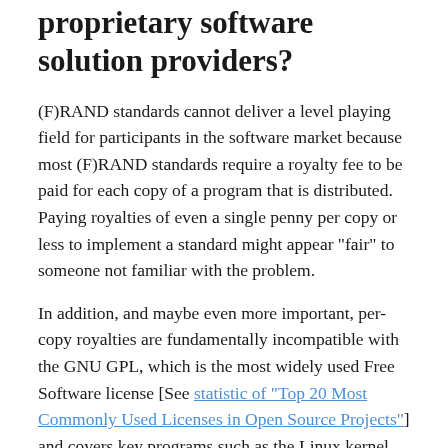proprietary software solution providers?
(F)RAND standards cannot deliver a level playing field for participants in the software market because most (F)RAND standards require a royalty fee to be paid for each copy of a program that is distributed. Paying royalties of even a single penny per copy or less to implement a standard might appear "fair" to someone not familiar with the problem.
In addition, and maybe even more important, per-copy royalties are fundamentally incompatible with the GNU GPL, which is the most widely used Free Software license [See statistic of "Top 20 Most Commonly Used Licenses in Open Source Projects"] and covers key programs such as the Linux kernel and much of the GNU operating system. Moreover, such royalties are fundamentally incompatible with most of the Free Software licenses out there. According to the quantity of usage of different licenses, more than 80% of Free Software projects are distributed under licenses that are incompatible with patent royalty-bearing regimes. In reality, (F)RAND is unfair, unreasonable